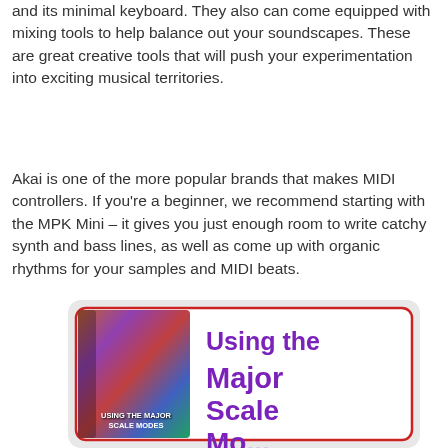and its minimal keyboard. They also can come equipped with mixing tools to help balance out your soundscapes. These are great creative tools that will push your experimentation into exciting musical territories.
Akai is one of the more popular brands that makes MIDI controllers. If you're a beginner, we recommend starting with the MPK Mini – it gives you just enough room to write catchy synth and bass lines, as well as come up with organic rhythms for your samples and MIDI beats.
[Figure (illustration): Advertisement banner for 'Using the Major Scale Modes' book/ebook. White rounded rectangle with red border inside a grey rounded rectangle. Left side shows a colorful book cover with the text 'Using the Major Scale Modes'. Right side shows large bold purple text reading 'Using the Major Scale Mo...' (cut off at bottom).]